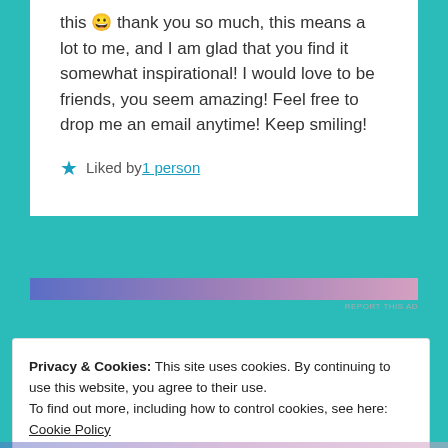this 😀 thank you so much, this means a lot to me, and I am glad that you find it somewhat inspirational! I would love to be friends, you seem amazing! Feel free to drop me an email anytime! Keep smiling!
★ Liked by 1 person
[Figure (other): Advertisement banner with gradient from blue to pink]
REPORT THIS AD
Privacy & Cookies: This site uses cookies. By continuing to use this website, you agree to their use.
To find out more, including how to control cookies, see here: Cookie Policy
Close and accept